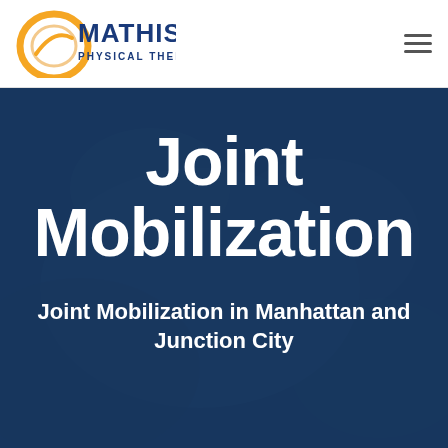[Figure (logo): Mathis Physical Therapy logo with orange circular graphic and blue text]
[Figure (illustration): Hamburger menu icon (three horizontal lines) in top right corner]
[Figure (photo): Dark blue hero background image suggesting physical therapy hands on a joint]
Joint Mobilization
Joint Mobilization in Manhattan and Junction City